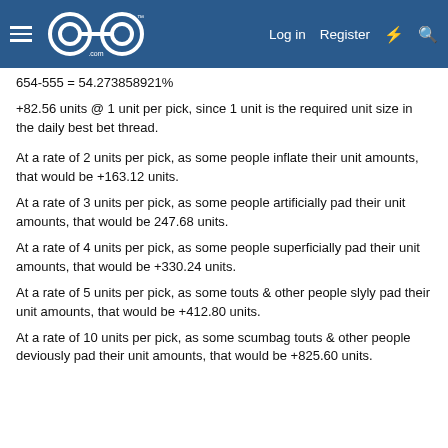GoG forum navigation bar with hamburger menu, logo, Log in, Register, lightning, search icons
+82.56 units @ 1 unit per pick, since 1 unit is the required unit size in the daily best bet thread.
At a rate of 2 units per pick, as some people inflate their unit amounts, that would be +163.12 units.
At a rate of 3 units per pick, as some people artificially pad their unit amounts, that would be 247.68 units.
At a rate of 4 units per pick, as some people superficially pad their unit amounts, that would be +330.24 units.
At a rate of 5 units per pick, as some touts & other people slyly pad their unit amounts, that would be +412.80 units.
At a rate of 10 units per pick, as some scumbag touts & other people deviously pad their unit amounts, that would be +825.60 units.